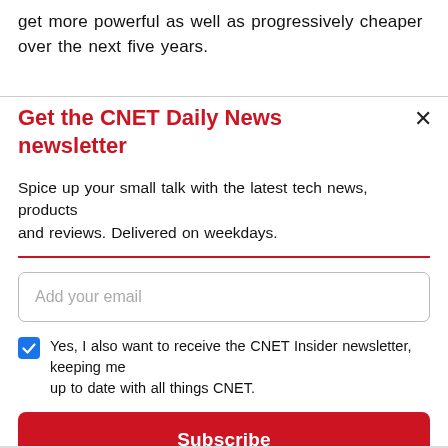get more powerful as well as progressively cheaper over the next five years.
Get the CNET Daily News newsletter
Spice up your small talk with the latest tech news, products and reviews. Delivered on weekdays.
Add your email
Yes, I also want to receive the CNET Insider newsletter, keeping me up to date with all things CNET.
Subscribe
By signing up, you agree to our Terms of Use and acknowledge the data practices in our Privacy Policy. You may unsubscribe at any time.